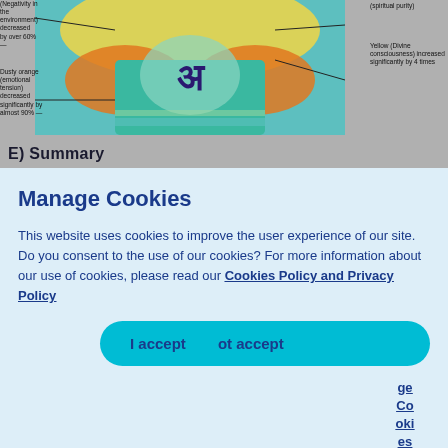[Figure (photo): Aura/energy field image showing a person with color annotations. Labels point to different colored regions: negativity in the environment decreased by over 60%, dusty orange (emotional tension) decreased significantly by almost 90%, Yellow (Divine consciousness) increased significantly by 4 times, and another annotation on the right about spiritual purity.]
E) Summary
Manage Cookies
This website uses cookies to improve the user experience of our site. Do you consent to the use of our cookies? For more information about our use of cookies, please read our Cookies Policy and Privacy Policy
I accept   ot accept
ge Co oki es